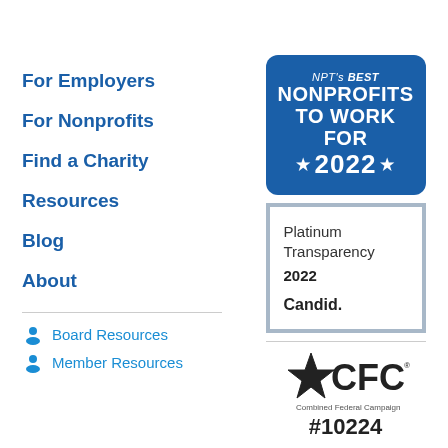For Employers
For Nonprofits
Find a Charity
Resources
Blog
About
Board Resources
Member Resources
[Figure (logo): NPT's Best Nonprofits To Work For 2022 badge - blue rounded rectangle with stars]
[Figure (logo): Platinum Transparency 2022 Candid badge - grey bordered white box]
[Figure (logo): CFC Combined Federal Campaign star logo with text #10224]
[Figure (logo): Dulles Regional Chamber of Commerce Member logo]